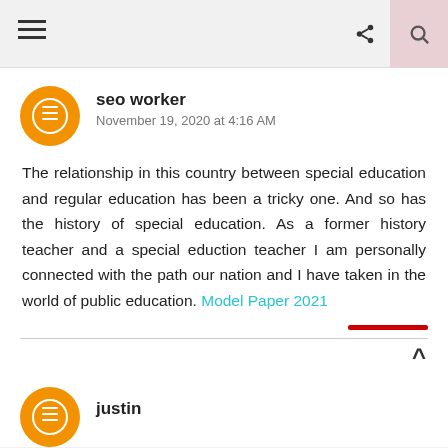Navigation bar with hamburger menu, share icon, and search icon
seo worker
November 19, 2020 at 4:16 AM
The relationship in this country between special education and regular education has been a tricky one. And so has the history of special education. As a former history teacher and a special eduction teacher I am personally connected with the path our nation and I have taken in the world of public education. Model Paper 2021
justin